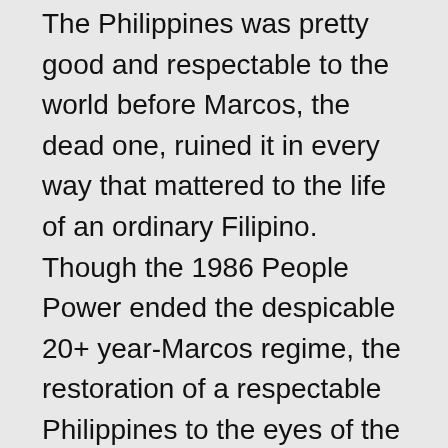The Philippines was pretty good and respectable to the world before Marcos, the dead one, ruined it in every way that mattered to the life of an ordinary Filipino. Though the 1986 People Power ended the despicable 20+ year-Marcos regime, the restoration of a respectable Philippines to the eyes of the world did not catch up as quickly as the restoration of democracy…thanks to Pres. Cory Aquino, for the latter. Despite a decent FVR